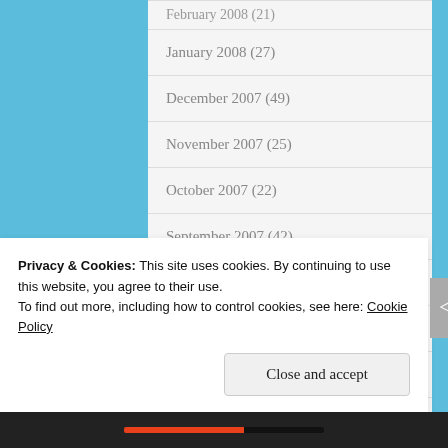January 2008 (27)
December 2007 (49)
November 2007 (25)
October 2007 (22)
September 2007 (42)
August 2007 (42)
July 2007 (72)
June 2007 (48)
Privacy & Cookies: This site uses cookies. By continuing to use this website, you agree to their use.
To find out more, including how to control cookies, see here: Cookie Policy
Close and accept